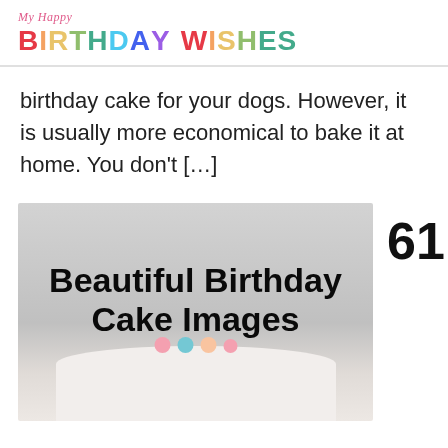My Happy Birthday Wishes
birthday cake for your dogs. However, it is usually more economical to bake it at home. You don't […]
[Figure (illustration): Image with text overlay reading 'Beautiful Birthday Cake Images' over a photo of a white birthday cake with floral decorations]
61